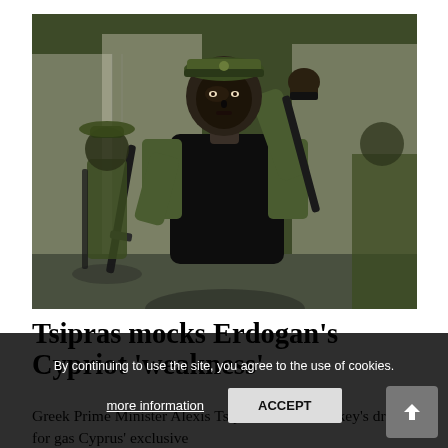[Figure (photo): Soldiers in camouflage military uniforms and face paint, armed with rifles, marching or posing in an urban setting. The central soldier faces the camera with black face paint and camouflage pattern clothing, wearing a tactical vest, with arm raised. Other soldiers visible in background.]
Tsipras mocks Erdogan's Cypriot 'weakness'
Greek Prime Minister Alexis Tsipras has said Turkey's drilling for gas Cyprus' exclusive
By continuing to use the site, you agree to the use of cookies.
more information
ACCEPT